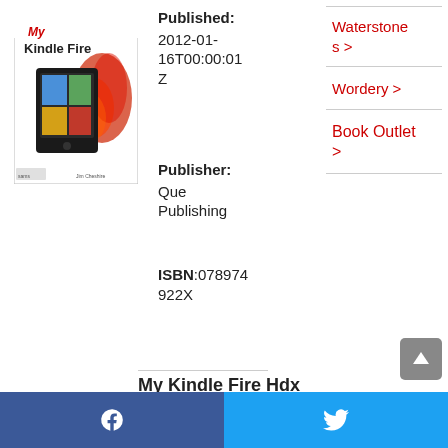[Figure (illustration): Book cover of 'My Kindle Fire' published by Que, showing a Kindle Fire tablet with decorative flame/swirl graphics on a white background. Authors listed at bottom.]
Published: 2012-01-16T00:00:01Z
Publisher: Que Publishing
ISBN:078974922X
Waterstones >
Wordery >
Book Outlet >
My Kindle Fire Hdx
f   🐦